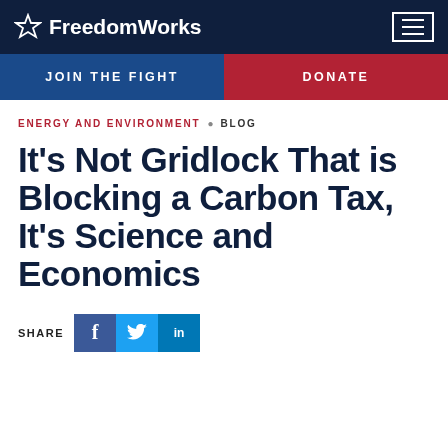FreedomWorks
JOIN THE FIGHT   DONATE
ENERGY AND ENVIRONMENT · BLOG
It's Not Gridlock That is Blocking a Carbon Tax, It's Science and Economics
SHARE